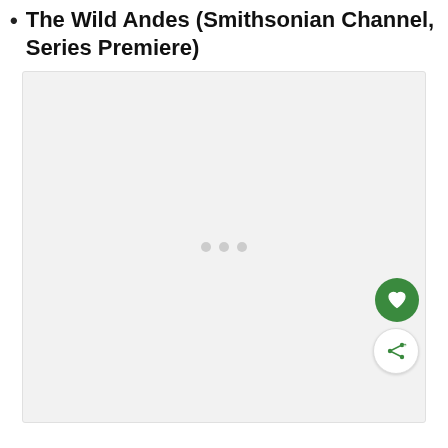The Wild Andes (Smithsonian Channel, Series Premiere)
[Figure (other): A large light gray placeholder image box with three small gray loading dots centered horizontally, and two circular action buttons (green heart/favorite button and white share button) positioned in the lower right corner.]